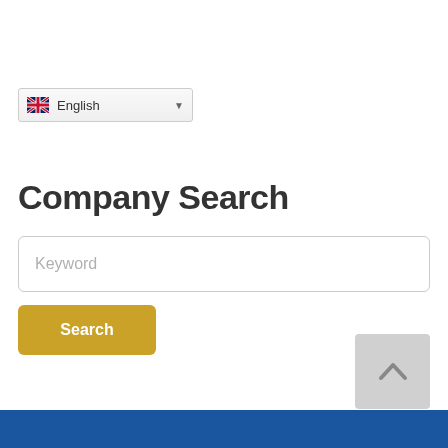[Figure (screenshot): Language dropdown selector showing UK flag and 'English' text with dropdown arrow]
Company Search
[Figure (screenshot): Search input field with placeholder text 'Keyword']
[Figure (screenshot): Golden/yellow 'Search' button]
[Figure (screenshot): Back to top button (grey square with upward chevron arrow)]
[Figure (screenshot): Blue footer bar at bottom of page]